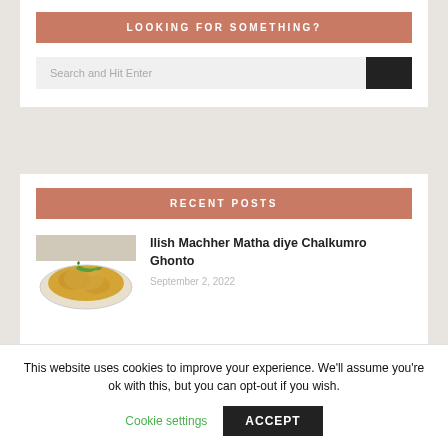LOOKING FOR SOMETHING?
Search and Hit Enter
RECENT POSTS
[Figure (photo): Photo of Ilish Machher Matha diye Chalkumro Ghonto dish — yellow curry with green chili on a plate]
Ilish Machher Matha diye Chalkumro Ghonto
September 2, 2022
This website uses cookies to improve your experience. We'll assume you're ok with this, but you can opt-out if you wish.
Cookie settings
ACCEPT